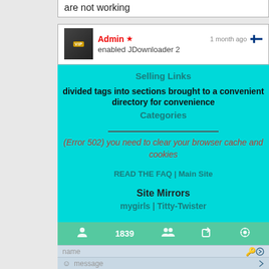are not working
Admin ★   1 month ago   enabled JDownloader 2
Selling Links
divided tags into sections brought to a convenient directory for convenience
Categories
(Error 502) you need to clear your browser cache and cookies
READ THE FAQ | Main Site
Site Mirrors
mygirls | Titty-Twister
1839
name
message